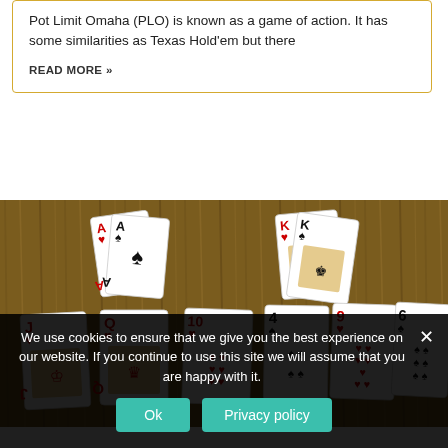Pot Limit Omaha (PLO) is known as a game of action. It has some similarities as Texas Hold'em but there
READ MORE »
[Figure (photo): Playing cards laid on a wooden table: two aces (A of hearts, A of spades) and two kings (K of hearts, K of spades) in top area; bottom row shows J of hearts, Q of hearts, 10 of hearts, 4 of spades, 9 of hearts, 6 of spades arranged face up.]
We use cookies to ensure that we give you the best experience on our website. If you continue to use this site we will assume that you are happy with it.
Ok
Privacy policy